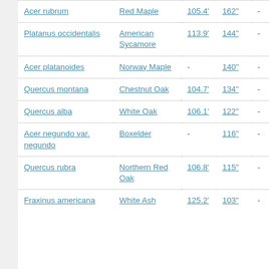| Acer rubrum | Red Maple | 105.4' | 162" | - |
| Platanus occidentalis | American Sycamore | 113.9' | 144" | - |
| Acer platanoides | Norway Maple | - | 140" | - |
| Quercus montana | Chestnut Oak | 104.7' | 134" | - |
| Quercus alba | White Oak | 106.1' | 122" | - |
| Acer negundo var. negundo | Boxelder | - | 116" | - |
| Quercus rubra | Northern Red Oak | 106.8' | 115" | - |
| Fraxinus americana | White Ash | 125.2' | 103" | - |